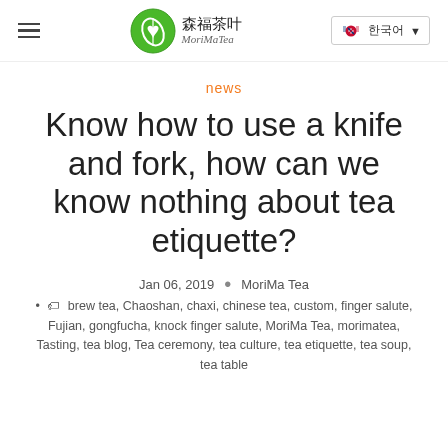MoriMa Tea — Navigation header with logo and language selector
news
Know how to use a knife and fork, how can we know nothing about tea etiquette?
Jan 06, 2019 · MoriMa Tea
brew tea, Chaoshan, chaxi, chinese tea, custom, finger salute, Fujian, gongfucha, knock finger salute, MoriMa Tea, morimatea, Tasting, tea blog, Tea ceremony, tea culture, tea etiquette, tea soup, tea table